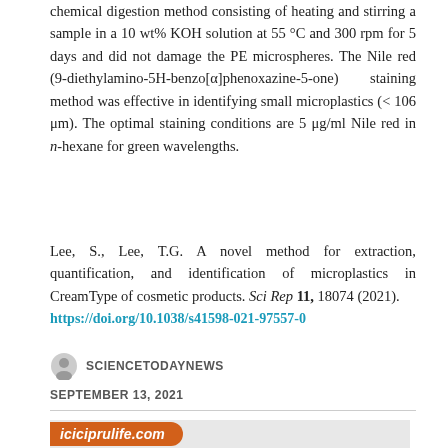chemical digestion method consisting of heating and stirring a sample in a 10 wt% KOH solution at 55 °C and 300 rpm for 5 days and did not damage the PE microspheres. The Nile red (9-diethylamino-5H-benzo[α]phenoxazine-5-one) staining method was effective in identifying small microplastics (< 106 μm). The optimal staining conditions are 5 μg/ml Nile red in n-hexane for green wavelengths.
Lee, S., Lee, T.G. A novel method for extraction, quantification, and identification of microplastics in CreamType of cosmetic products. Sci Rep 11, 18074 (2021). https://doi.org/10.1038/s41598-021-97557-0
SCIENCETODAYNEWS
SEPTEMBER 13, 2021
[Figure (other): Advertisement banner for iciciprulife.com with orange rounded label on grey background]